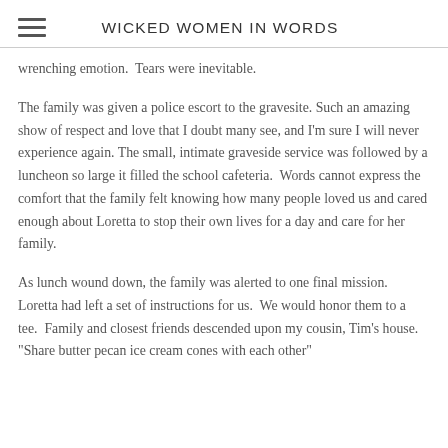WICKED WOMEN IN WORDS
wrenching emotion.  Tears were inevitable.
The family was given a police escort to the gravesite. Such an amazing show of respect and love that I doubt many see, and I'm sure I will never experience again. The small, intimate graveside service was followed by a luncheon so large it filled the school cafeteria.  Words cannot express the comfort that the family felt knowing how many people loved us and cared enough about Loretta to stop their own lives for a day and care for her family.
As lunch wound down, the family was alerted to one final mission.  Loretta had left a set of instructions for us.  We would honor them to a tee.  Family and closest friends descended upon my cousin, Tim's house. "Share butter pecan ice cream cones with each other"